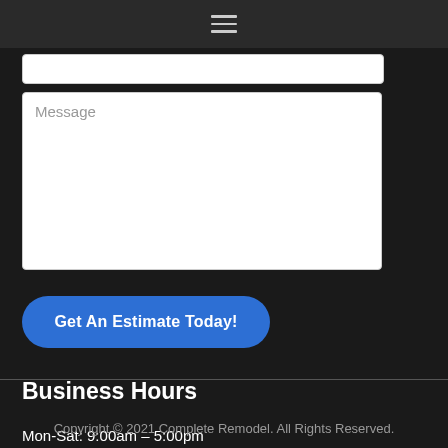≡
[Figure (screenshot): Text input field (partially visible at top)]
Message
Get An Estimate Today!
Business Hours
Mon-Sat: 9:00am – 5:00pm
Sun: Closed
Copyright © 2021 Complete Remodel. All Rights Reserved.